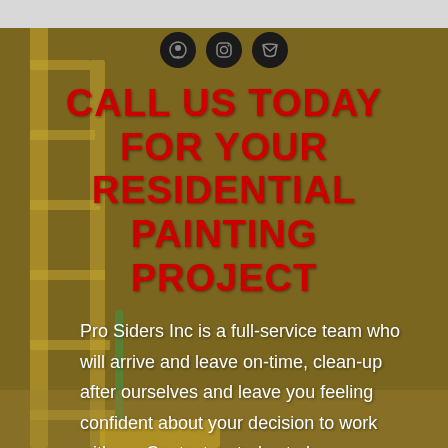[Figure (photo): Background photo of a ladder leaning against a wall with a paint roller, overlaid with a dark golden/olive color tint. Three dark circular social media icons visible at the top center.]
CALL US TODAY FOR YOUR RESIDENTIAL PAINTING PROJECT
Pro Siders Inc is a full-service team who will arrive and leave on-time, clean-up after ourselves and leave you feeling confident about your decision to work with us. Contact us today to learn more about our residential painting services!